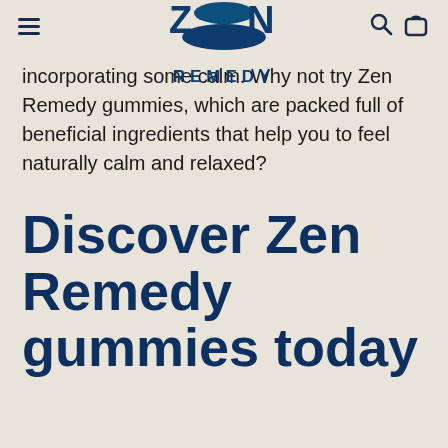ZEN REMEDY
incorporating some calm. Why not try Zen Remedy gummies, which are packed full of beneficial ingredients that help you to feel naturally calm and relaxed?
Discover Zen Remedy gummies today